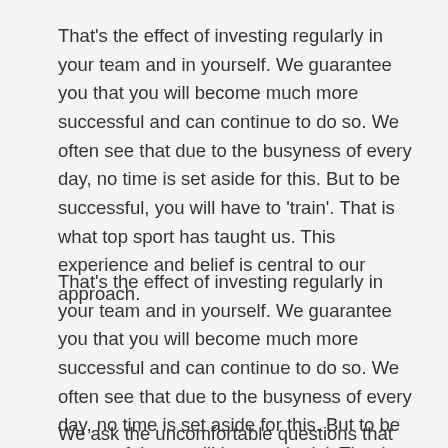That's the effect of investing regularly in your team and in yourself. We guarantee you that you will become much more successful and can continue to do so. We often see that due to the busyness of every day, no time is set aside for this. But to be successful, you will have to 'train'. That is what top sport has taught us. This experience and belief is central to our approach.
That's the effect of investing regularly in your team and in yourself. We guarantee you that you will become much more successful and can continue to do so. We often see that due to the busyness of every day, no time is set aside for this. But to be successful, you will have to 'train'. That is what top sport has taught us. This experience and belief is central to our approach.
We ask the uncomfortable questions that are